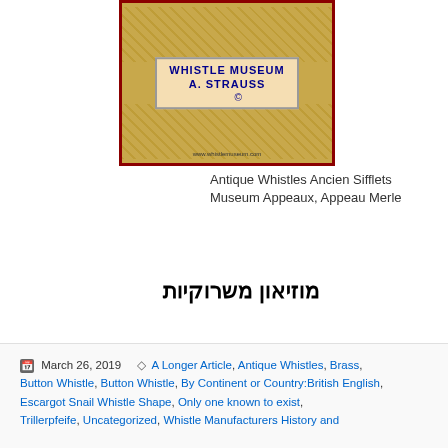[Figure (photo): Whistle Museum A. Strauss catalog cover showing antique whistles on golden/tan background with dark red border, with website www.whistlemuseum.com]
Antique Whistles Ancien Sifflets Museum Appeaux, Appeau Merle
מוזיאון משרוקיות
March 26, 2019  A Longer Article, Antique Whistles, Brass, Button Whistle, Button Whistle, By Continent or Country:British English, Escargot Snail Whistle Shape, Only one known to exist, Trillerpfeife, Uncategorized, Whistle Manufacturers History and